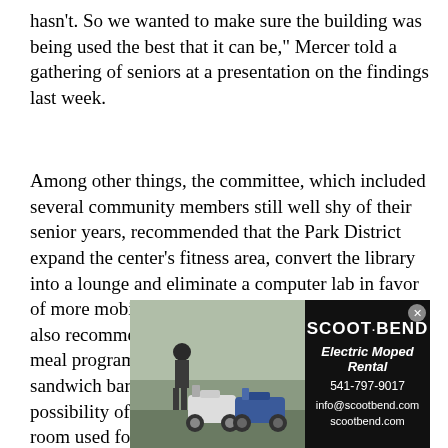hasn't. So we wanted to make sure the building was being used the best that it can be," Mercer told a gathering of seniors at a presentation on the findings last week.
Among other things, the committee, which included several community members still well shy of their senior years, recommended that the Park District expand the center's fitness area, convert the library into a lounge and eliminate a computer lab in favor of more mobile devices like laptops and tablets. It also recommended that the district phase out the meal program in favor of a more casual coffee and sandwich bar in the lobby. There is also the possibility of using the large events room, the same room used for meals and dancing, for more recreation. There are already plans to set up temporary indoor courts for the popular game of pickleball, a tennis-like sport that
[Figure (photo): Advertisement for Scoot Bend Electric Moped Rental. Left side shows a photo of two electric mopeds parked outdoors with a person standing nearby. Right side has black background with white text: SCOOT·BEND, Electric Moped Rental, 541-797-9017, info@scootbend.com, scootbend.com]